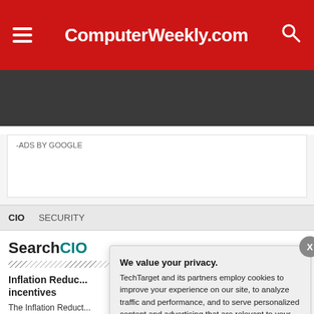ComputerWeekly.com
-ADS BY GOOGLE
CIO  SECURITY
SearchCIO
Inflation Reduc... incentives
The Inflation Reduct...
We value your privacy. TechTarget and its partners employ cookies to improve your experience on our site, to analyze traffic and performance, and to serve personalized content and advertising that are relevant to your professional interests. You can manage your settings at any time. Please view our Privacy Policy for more information